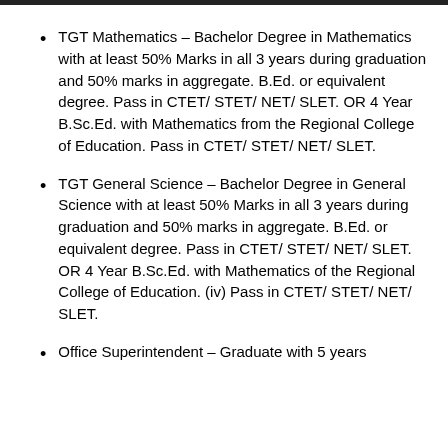TGT Mathematics – Bachelor Degree in Mathematics with at least 50% Marks in all 3 years during graduation and 50% marks in aggregate. B.Ed. or equivalent degree. Pass in CTET/ STET/ NET/ SLET. OR 4 Year B.Sc.Ed. with Mathematics from the Regional College of Education. Pass in CTET/ STET/ NET/ SLET.
TGT General Science – Bachelor Degree in General Science with at least 50% Marks in all 3 years during graduation and 50% marks in aggregate. B.Ed. or equivalent degree. Pass in CTET/ STET/ NET/ SLET. OR 4 Year B.Sc.Ed. with Mathematics of the Regional College of Education. (iv) Pass in CTET/ STET/ NET/ SLET.
Office Superintendent – Graduate with 5 years